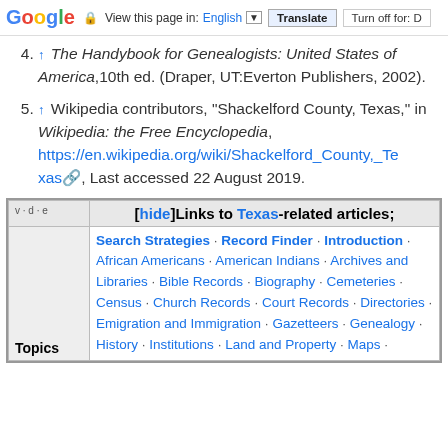Google | View this page in: English | Translate | Turn off for: D
4. ↑ The Handybook for Genealogists: United States of America, 10th ed. (Draper, UT:Everton Publishers, 2002).
5. ↑ Wikipedia contributors, "Shackelford County, Texas," in Wikipedia: the Free Encyclopedia, https://en.wikipedia.org/wiki/Shackelford_County,_Texas, Last accessed 22 August 2019.
| v·d·e | [hide]Links to Texas-related articles; |
| --- | --- |
| Topics | Search Strategies · Record Finder · Introduction · African Americans · American Indians · Archives and Libraries · Bible Records · Biography · Cemeteries · Census · Church Records · Court Records · Directories · Emigration and Immigration · Gazetteers · Genealogy · History · Institutions · Land and Property · Maps · |